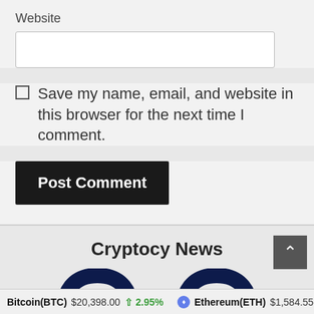Website
Save my name, email, and website in this browser for the next time I comment.
Post Comment
Cryptocy News
[Figure (logo): Two dark navy arc/semicircle logo shapes visible at bottom of page]
Bitcoin(BTC) $20,398.00 ↑ 2.95% Ethereum(ETH) $1,584.55 ↑